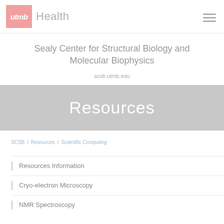utmb Health
Sealy Center for Structural Biology and Molecular Biophysics
scsb.utmb.edu
Resources
SCSB / Resources / Scientific Computing
Resources Information
Cryo-electron Microscopy
NMR Spectroscopy